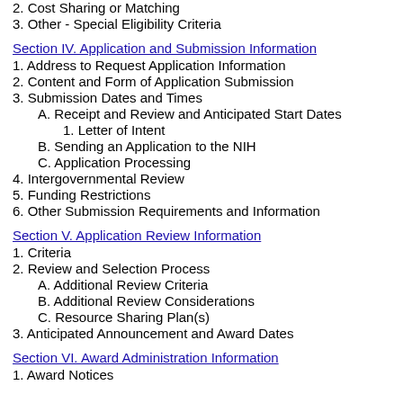2. Cost Sharing or Matching
3. Other - Special Eligibility Criteria
Section IV. Application and Submission Information
1. Address to Request Application Information
2. Content and Form of Application Submission
3. Submission Dates and Times
A. Receipt and Review and Anticipated Start Dates
1. Letter of Intent
B. Sending an Application to the NIH
C. Application Processing
4. Intergovernmental Review
5. Funding Restrictions
6. Other Submission Requirements and Information
Section V. Application Review Information
1. Criteria
2. Review and Selection Process
A. Additional Review Criteria
B. Additional Review Considerations
C. Resource Sharing Plan(s)
3. Anticipated Announcement and Award Dates
Section VI. Award Administration Information
1. Award Notices